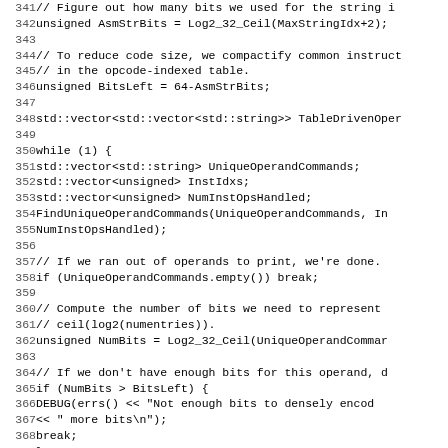Code listing lines 341-372, C++ source code showing assembly string bits computation, opcode table, while loop with operand command processing